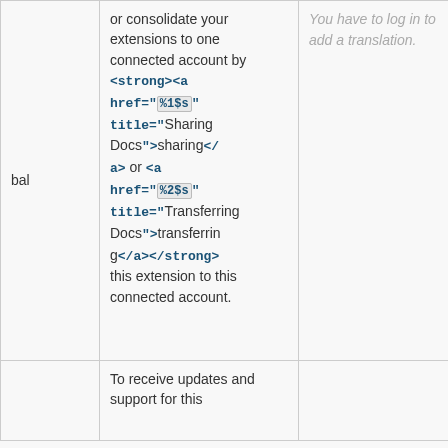|  | English | Translation | Actions |
| --- | --- | --- | --- |
| bal | or consolidate your extensions to one connected account by <strong><a href="%1$s" title="Sharing Docs">sharing</a> or <a href="%2$s" title="Transferring Docs">transferring</a></strong> this extension to this connected account. | You have to log in to add a translation. | Details |
|  | To receive updates and support for this |  |  |